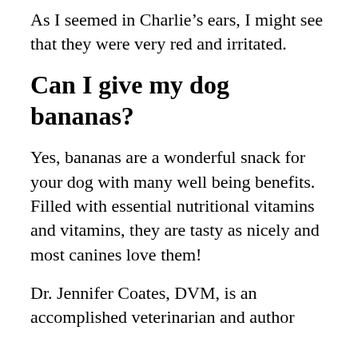As I seemed in Charlie’s ears, I might see that they were very red and irritated.
Can I give my dog bananas?
Yes, bananas are a wonderful snack for your dog with many well being benefits. Filled with essential nutritional vitamins and vitamins, they are tasty as nicely and most canines love them!
Dr. Jennifer Coates, DVM, is an accomplished veterinarian and author